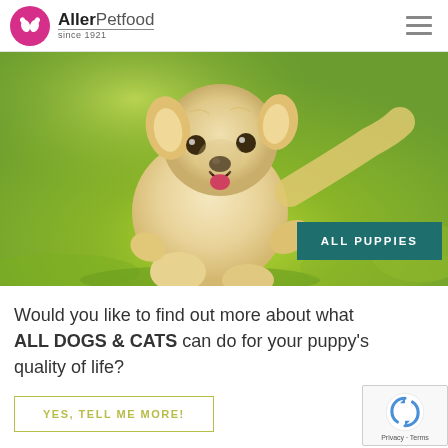[Figure (logo): AllerPetfood logo with pink circle containing stylized dog/cat icon, brand name 'AllerPetfood' and 'since 1921' tagline, plus hamburger menu icon]
[Figure (photo): Golden labrador puppy running on green grass, with teal 'ALL PUPPIES' button overlay in bottom right]
Would you like to find out more about what ALL DOGS & CATS can do for your puppy's quality of life?
YES, TELL ME MORE!